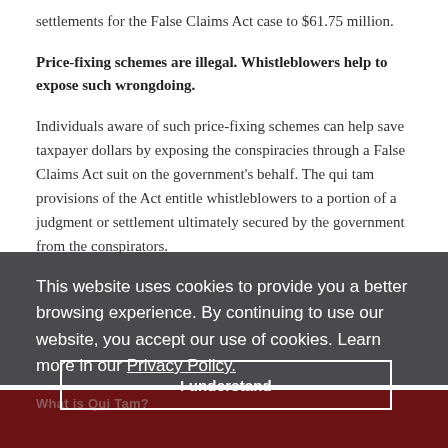settlements for the False Claims Act case to $61.75 million.
Price-fixing schemes are illegal. Whistleblowers help to expose such wrongdoing.
Individuals aware of such price-fixing schemes can help save taxpayer dollars by exposing the conspiracies through a False Claims Act suit on the government's behalf. The qui tam provisions of the Act entitle whistleblowers to a portion of a judgment or settlement ultimately secured by the government from the conspirators.
This website uses cookies to provide you a better browsing experience. By continuing to use our website, you accept our use of cookies. Learn more in our Privacy Policy.
I understand
What is Qui Tam?
LIVE CHAT
TEXT US